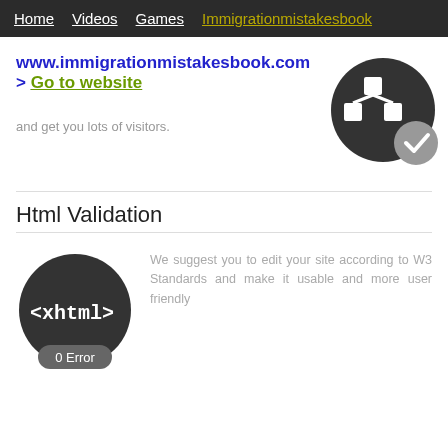Home  Videos  Games  Immigrationmistakesbook
www.immigrationmistakesbook.com > Go to website
and get you lots of visitors.
[Figure (logo): Dark circular/shield icon with network/sitemap symbol and a grey checkmark badge]
Html Validation
[Figure (logo): Dark circle with <xhtml> text and a grey pill badge showing '0 Error']
We suggest you to edit your site according to W3 Standards and make it usable and more user friendly